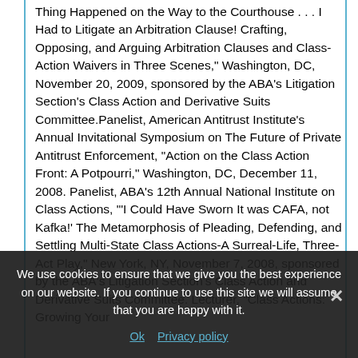Thing Happened on the Way to the Courthouse . . . I Had to Litigate an Arbitration Clause! Crafting, Opposing, and Arguing Arbitration Clauses and Class-Action Waivers in Three Scenes," Washington, DC, November 20, 2009, sponsored by the ABA's Litigation Section's Class Action and Derivative Suits Committee.Panelist, American Antitrust Institute's Annual Invitational Symposium on The Future of Private Antitrust Enforcement, "Action on the Class Action Front: A Potpourri," Washington, DC, December 11, 2008. Panelist, ABA's 12th Annual National Institute on Class Actions, "'I Could Have Sworn It was CAFA, not Kafka!' The Metamorphosis of Pleading, Defending, and Settling Multi-State Class Actions-A Surreal-Life, Three-Act Play," New York, NY, November 7, 2008, sponsored by the ABA's Litigation Section's Class Action and Derivative Suits Committee. Lecturer, "Class Actions: Growing Your...
We use cookies to ensure that we give you the best experience on our website. If you continue to use this site we will assume that you are happy with it.
Ok   Privacy policy